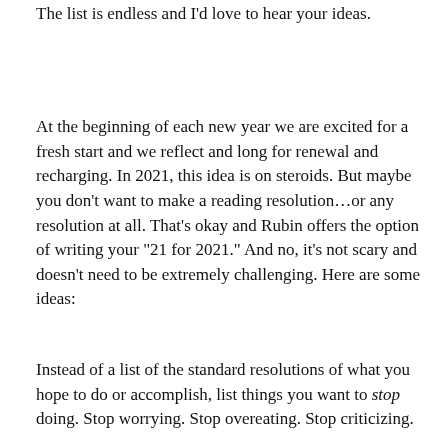The list is endless and I'd love to hear your ideas.
At the beginning of each new year we are excited for a fresh start and we reflect and long for renewal and recharging. In 2021, this idea is on steroids. But maybe you don’t want to make a reading resolution…or any resolution at all. That’s okay and Rubin offers the option of writing your “21 for 2021.” And no, it’s not scary and doesn’t need to be extremely challenging. Here are some ideas:
Instead of a list of the standard resolutions of what you hope to do or accomplish, list things you want to stop doing. Stop worrying. Stop overeating. Stop criticizing.